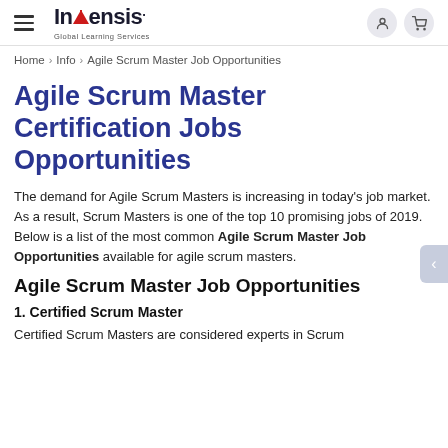[Figure (logo): Invensis Global Learning Services logo with hamburger menu, user icon, and cart icon]
Home > Info > Agile Scrum Master Job Opportunities
Agile Scrum Master Certification Jobs Opportunities
The demand for Agile Scrum Masters is increasing in today's job market. As a result, Scrum Masters is one of the top 10 promising jobs of 2019. Below is a list of the most common Agile Scrum Master Job Opportunities available for agile scrum masters.
Agile Scrum Master Job Opportunities
1. Certified Scrum Master
Certified Scrum Masters are considered experts in Scrum